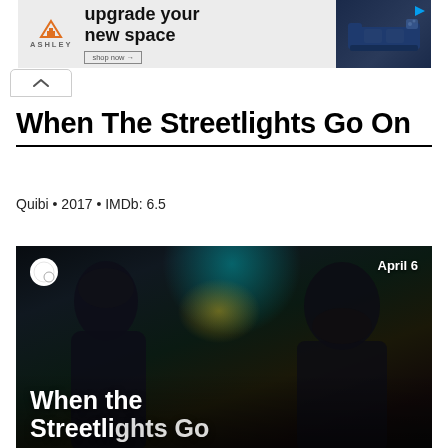[Figure (screenshot): Ashley Furniture advertisement banner showing orange house logo, 'upgrade your new space' text, 'shop now' CTA button, and a dark blue sofa on right side]
[Figure (screenshot): Collapse/minimize chevron button below the ad banner]
When The Streetlights Go On
Quibi • 2017 • IMDb: 6.5
[Figure (screenshot): Promotional image for 'When the Streetlights Go On' showing two people in a car against dark background with teal and amber lighting. Quibi logo in top left, 'April 6' text in top right, show title overlaid at bottom.]